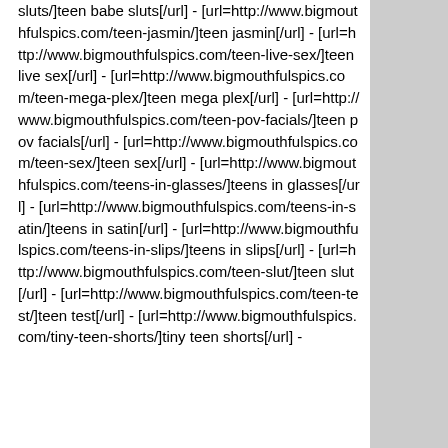sluts/]teen babe sluts[/url] - [url=http://www.bigmouthfulspics.com/teen-jasmin/]teen jasmin[/url] - [url=http://www.bigmouthfulspics.com/teen-live-sex/]teen live sex[/url] - [url=http://www.bigmouthfulspics.com/teen-mega-plex/]teen mega plex[/url] - [url=http://www.bigmouthfulspics.com/teen-pov-facials/]teen pov facials[/url] - [url=http://www.bigmouthfulspics.com/teen-sex/]teen sex[/url] - [url=http://www.bigmouthfulspics.com/teens-in-glasses/]teens in glasses[/url] - [url=http://www.bigmouthfulspics.com/teens-in-satin/]teens in satin[/url] - [url=http://www.bigmouthfulspics.com/teens-in-slips/]teens in slips[/url] - [url=http://www.bigmouthfulspics.com/teen-slut/]teen slut[/url] - [url=http://www.bigmouthfulspics.com/teen-test/]teen test[/url] - [url=http://www.bigmouthfulspics.com/tiny-teen-shorts/]tiny teen shorts[/url] -